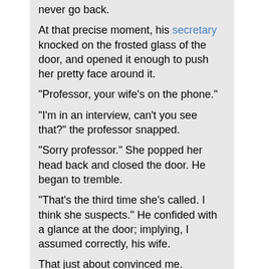never go back.
At that precise moment, his secretary knocked on the frosted glass of the door, and opened it enough to push her pretty face around it.
"Professor, your wife's on the phone."
"I'm in an interview, can't you see that?" the professor snapped.
"Sorry professor." She popped her head back and closed the door. He began to tremble.
"That's the third time she's called. I think she suspects." He confided with a glance at the door; implying, I assumed correctly, his wife.
That just about convinced me. "Professor, if and